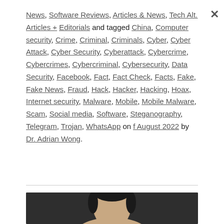News, Software Reviews, Articles & News, Tech Alt. Articles + Editorials and tagged China, Computer security, Crime, Criminal, Criminals, Cyber, Cyber Attack, Cyber Security, Cyberattack, Cybercrime, Cybercrimes, Cybercriminal, Cybersecurity, Data Security, Facebook, Fact, Fact Check, Facts, Fake, Fake News, Fraud, Hack, Hacker, Hacking, Hoax, Internet security, Malware, Mobile, Mobile Malware, Scam, Social media, Software, Steganography, Telegram, Trojan, WhatsApp on f August 2022 by Dr. Adrian Wong.
[Figure (photo): Portrait photo of Dr. Adrian Wong against dark background, head and shoulders visible at bottom of frame]